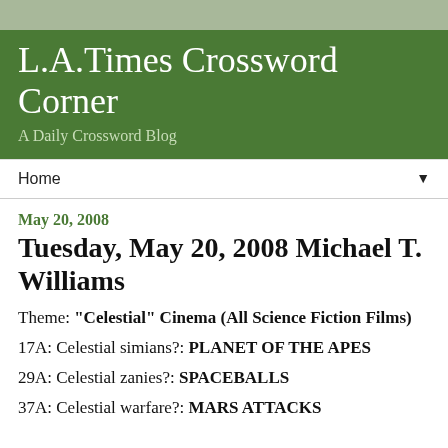L.A.Times Crossword Corner
A Daily Crossword Blog
Home ▼
May 20, 2008
Tuesday, May 20, 2008 Michael T. Williams
Theme: "Celestial" Cinema (All Science Fiction Films)
17A: Celestial simians?: PLANET OF THE APES
29A: Celestial zanies?: SPACEBALLS
37A: Celestial warfare?: MARS ATTACKS